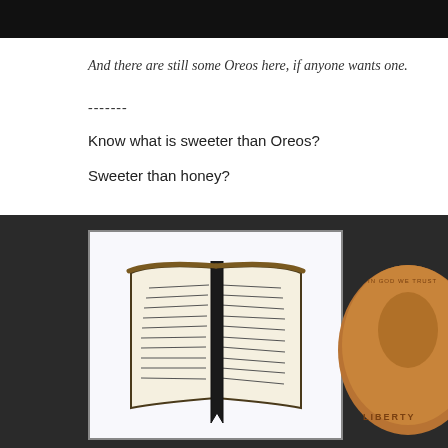[Figure (photo): Top portion of a dark/black image, appears to be the bottom of a previous photo, cropped at top of page]
And there are still some Oreos here, if anyone wants one.
-------
Know what is sweeter than Oreos?
Sweeter than honey?
[Figure (photo): Photo of a small hand-drawn illustration of an open Bible with a bookmark ribbon, placed on a dark gray surface next to a US penny coin showing 'IN GOD WE TRUST' and 'LIBERTY']